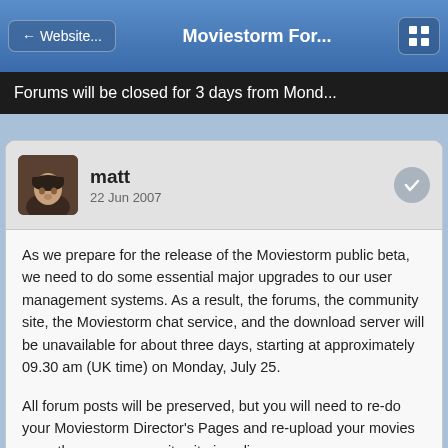← Website...   Moviestorm For...
Forums will be closed for 3 days from Mond...
matt
22 Jun 2007
As we prepare for the release of the Moviestorm public beta, we need to do some essential major upgrades to our user management systems. As a result, the forums, the community site, the Moviestorm chat service, and the download server will be unavailable for about three days, starting at approximately 09.30 am (UK time) on Monday, July 25.
All forum posts will be preserved, but you will need to re-do your Moviestorm Director's Pages and re-upload your movies once the new community site is online.
Sorry for the inconvenience.